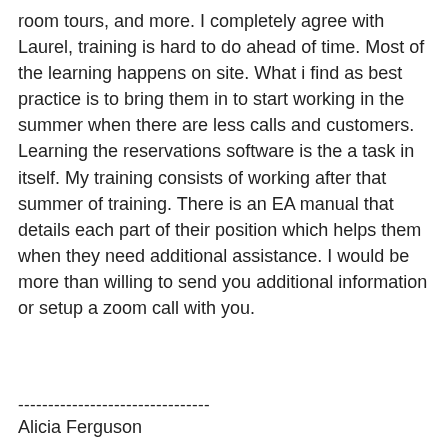room tours, and more. I completely agree with Laurel, training is hard to do ahead of time. Most of the learning happens on site. What i find as best practice is to bring them in to start working in the summer when there are less calls and customers. Learning the reservations software is the a task in itself. My training consists of working after that summer of training. There is an EA manual that details each part of their position which helps them when they need additional assistance. I would be more than willing to send you additional information or setup a zoom call with you.
--------------------------------
Alicia Ferguson